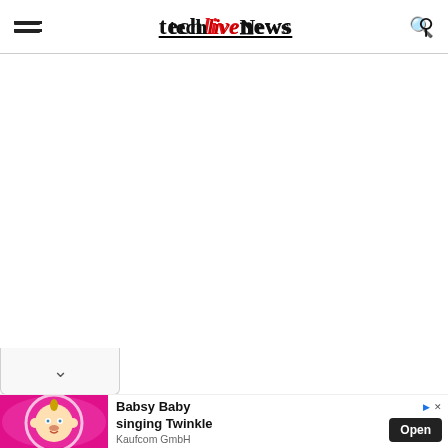techlivenews
[Figure (screenshot): White content area (blank/empty main content region)]
[Figure (infographic): Advertisement banner: cartoon baby character on pink background, text 'Babsy Baby singing Twinkle', 'Kaufcom GmbH', with an Open button]